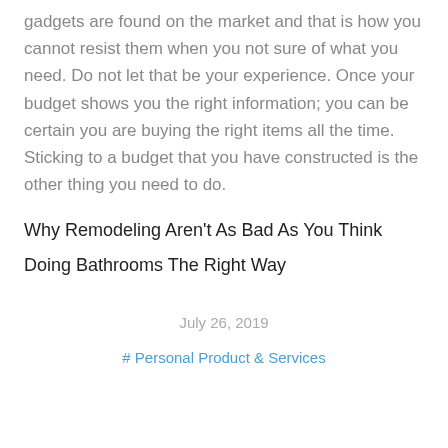gadgets are found on the market and that is how you cannot resist them when you not sure of what you need. Do not let that be your experience. Once your budget shows you the right information; you can be certain you are buying the right items all the time. Sticking to a budget that you have constructed is the other thing you need to do.
Why Remodeling Aren’t As Bad As You Think
Doing Bathrooms The Right Way
July 26, 2019
# Personal Product & Services